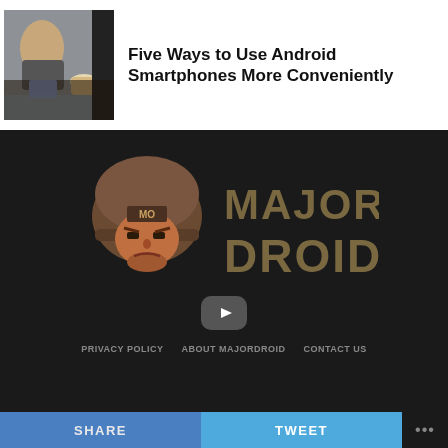[Figure (photo): Thumbnail photo of person using Android smartphone, with coffee cup nearby]
Five Ways to Use Android Smartphones More Conveniently
[Figure (logo): MajorDroid logo: soldier helmet icon with 'MO' label and bold text MAJOR DROID]
[Figure (other): YouTube play button icon (rounded rectangle with play triangle)]
PRIVACY POLICY   ABOUT MAJORDROID   CONTACT US
SHARE   TWEET   ...